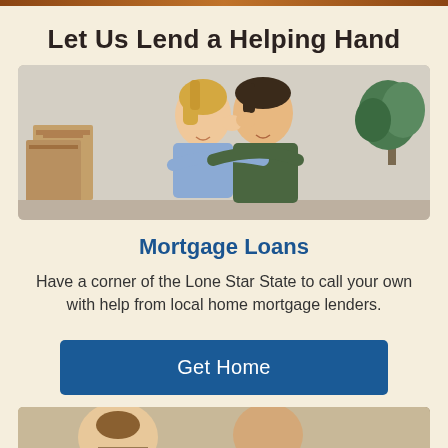Let Us Lend a Helping Hand
[Figure (photo): A happy couple touching foreheads and smiling, with moving boxes in the background, suggesting they are moving into a new home.]
Mortgage Loans
Have a corner of the Lone Star State to call your own with help from local home mortgage lenders.
Get Home
[Figure (photo): Partial view of another photo at the bottom of the page.]